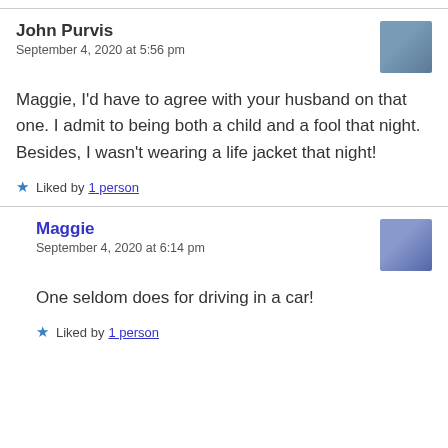John Purvis
September 4, 2020 at 5:56 pm
Maggie, I’d have to agree with your husband on that one. I admit to being both a child and a fool that night. Besides, I wasn’t wearing a life jacket that night!
★ Liked by 1 person
Maggie
September 4, 2020 at 6:14 pm
One seldom does for driving in a car!
★ Liked by 1 person